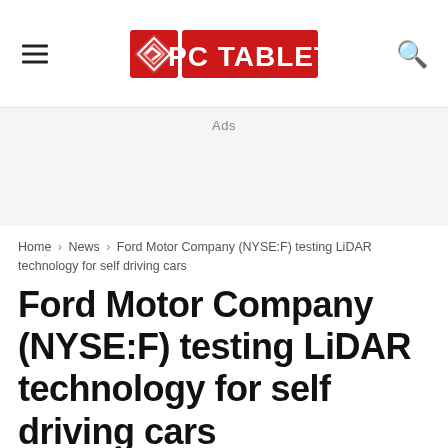PC TABLET
Ads
Home › News › Ford Motor Company (NYSE:F) testing LiDAR technology for self driving cars
Ford Motor Company (NYSE:F) testing LiDAR technology for self driving cars
By Nitin Agarwal - April 18, 2016
[Figure (photo): Dark night sky background image]